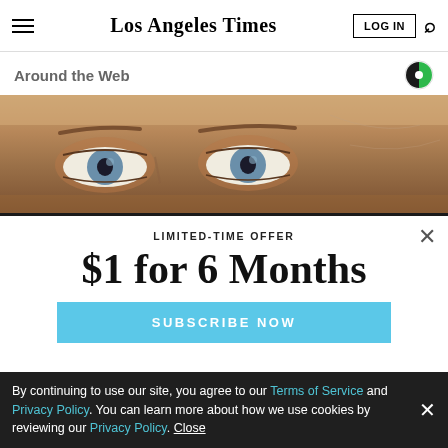Los Angeles Times — LOG IN
Around the Web
[Figure (photo): Close-up photo of a person's eyes with blue irises and fair skin, cropped at the forehead area]
LIMITED-TIME OFFER
$1 for 6 Months
SUBSCRIBE NOW
By continuing to use our site, you agree to our Terms of Service and Privacy Policy. You can learn more about how we use cookies by reviewing our Privacy Policy. Close